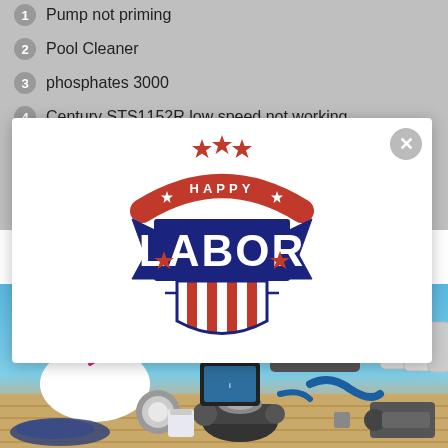Pump not priming
Pool Cleaner
phosphates 3000
Century STS1152R low speed not working
[Figure (logo): Happy Labor Day badge/logo with stars, banner ribbon, shield with red and white stripes, dark blue text LABOR DAY]
[Figure (photo): Pool equipment and products arranged on a wooden deck with a blue pool water background. Includes a swan pool float with sunglasses, pool pump, heat pump, filter cartridges, pool light, controller tablet, and various pool chemicals and accessories.]